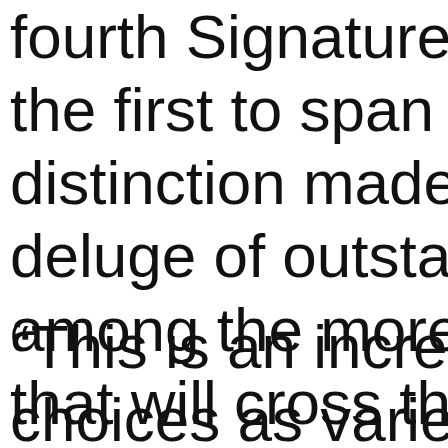fourth Signature eve the first to span fou distinction made ne deluge of outstandin among the more tha that will cross the bl
“This is an incredibl choices as varied as